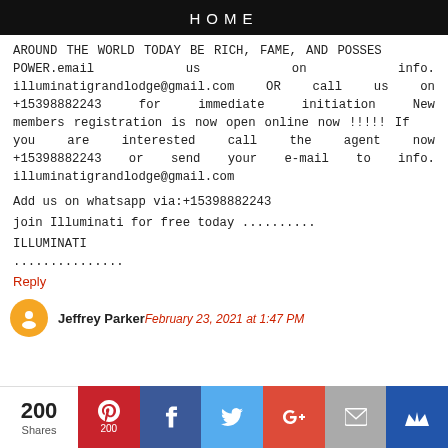HOME
AROUND THE WORLD TODAY BE RICH, FAME, AND POSSES POWER.email us on info.illuminatigrandlodge@gmail.com OR call us on +15398882243 for immediate initiation New members registration is now open online now !!!!! If you are interested call the agent now +15398882243 or send your e-mail to info.illuminatigrandlodge@gmail.com
Add us on whatsapp via:+15398882243
join Illuminati for free today ..........
ILLUMINATI
...............
Reply
Jeffrey Parker February 23, 2021 at 1:47 PM
[Figure (infographic): Social share bar with Pinterest (200), Facebook, Twitter, Google+, Email, and crown icon buttons]